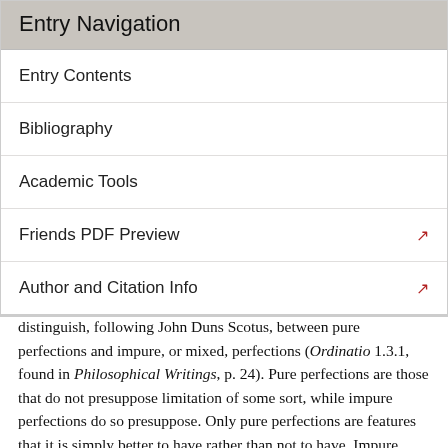Entry Navigation
Entry Contents
Bibliography
Academic Tools
Friends PDF Preview
Author and Citation Info
distinguish, following John Duns Scotus, between pure perfections and impure, or mixed, perfections (Ordinatio 1.3.1, found in Philosophical Writings, p. 24). Pure perfections are those that do not presuppose limitation of some sort, while impure perfections do so presuppose. Only pure perfections are features that it is simply better to have rather than not to have. Impure perfections presuppose some limiting factor that sets the perfection in question — for example, membership in some natural kind. So being a frog is a relevant sort of limitation, and sets a range of features that count as perfections for